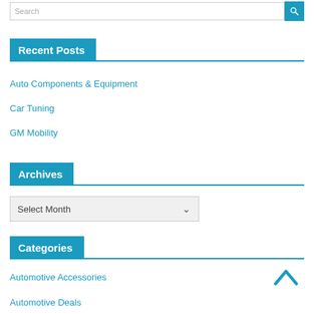Recent Posts
Auto Components & Equipment
Car Tuning
GM Mobility
Archives
Select Month
Categories
Automotive Accessories
Automotive Deals